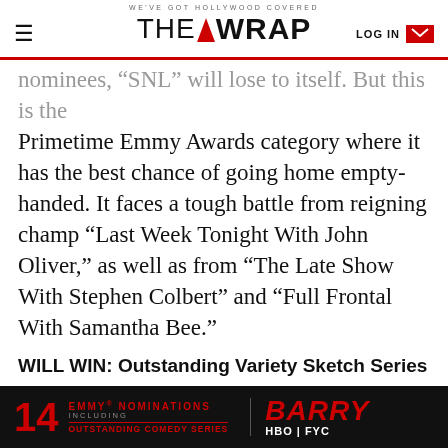WE'VE GOT HOLLYWOOD COVERED — THE WRAP — LOG IN
nominees, “SNL” will lose to itself. But this is the Primetime Emmy Awards category where it has the best chance of going home empty-handed. It faces a tough battle from reigning champ “Last Week Tonight With John Oliver,” as well as from “The Late Show With Stephen Colbert” and “Full Frontal With Samantha Bee.”
WILL WIN: Outstanding Variety Sketch Series
In the Year of Trump, can anything beat “SNL” in this category? Probably not. “SNL” can thank Donald Trump for all its Emmy momentum – and this should
[Figure (infographic): Black advertisement banner for Barry on HBO FYC. Shows '14 EMMY NOMINATIONS INCLUDING OUTSTANDING COMEDY SERIES' in red text on left, and 'BARRY HBO FYC' logo on right.]